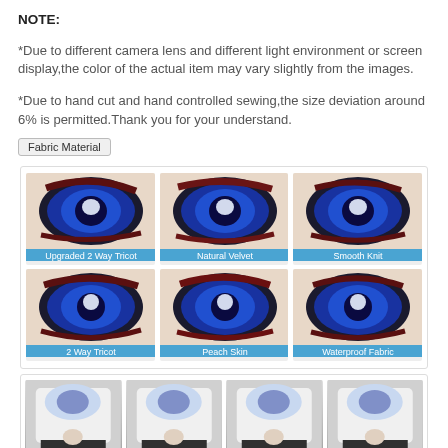NOTE:
*Due to different camera lens and different light environment or screen display,the color of the actual item may vary slightly from the images.
*Due to hand cut and hand controlled sewing,the size deviation around 6% is permitted.Thank you for your understand.
Fabric Material
[Figure (photo): 6 fabric material sample images showing anime eye pillow printed on different fabric types: Upgraded 2 Way Tricot, Natural Velvet, Smooth Knit, 2 Way Tricot, Peach Skin, Waterproof Fabric. Each image shows a blue anime eye design on the fabric with a teal label at the bottom.]
[Figure (photo): 4 photos showing people holding large anime face pillowcases, demonstrating the pillow size and look in use.]